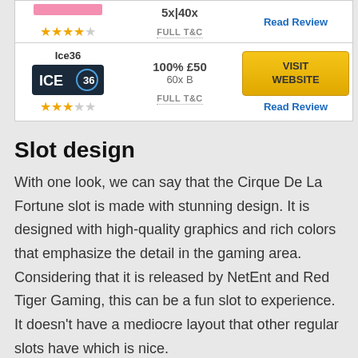| Casino | Bonus | Action |
| --- | --- | --- |
| (logo/pink bar) | 5x|40x | Read Review | FULL T&C |
| Ice36 (ICE36 logo) ★★★☆☆ | 100% £50
60x B
FULL T&C | VISIT WEBSITE
Read Review |
Slot design
With one look, we can say that the Cirque De La Fortune slot is made with stunning design. It is designed with high-quality graphics and rich colors that emphasize the detail in the gaming area. Considering that it is released by NetEnt and Red Tiger Gaming, this can be a fun slot to experience. It doesn't have a mediocre layout that other regular slots have which is nice.